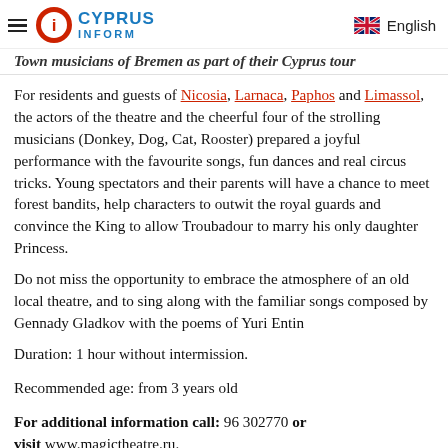Cyprus Inform — English
Town musicians of Bremen as part of their Cyprus tour
For residents and guests of Nicosia, Larnaca, Paphos and Limassol, the actors of the theatre and the cheerful four of the strolling musicians (Donkey, Dog, Cat, Rooster) prepared a joyful performance with the favourite songs, fun dances and real circus tricks. Young spectators and their parents will have a chance to meet forest bandits, help characters to outwit the royal guards and convince the King to allow Troubadour to marry his only daughter Princess.
Do not miss the opportunity to embrace the atmosphere of an old local theatre, and to sing along with the familiar songs composed by Gennady Gladkov with the poems of Yuri Entin
Duration: 1 hour without intermission.
Recommended age: from 3 years old
For additional information call: 96 302770 or visit www.magictheatre.ru.